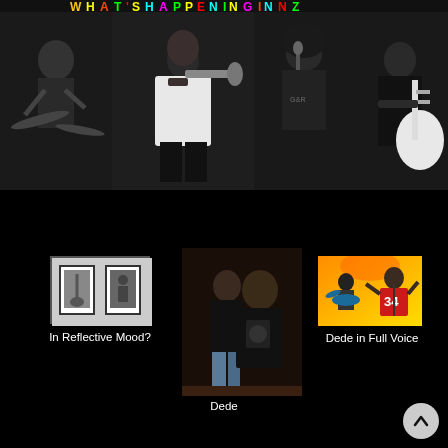[Figure (photo): Black and white band photo showing four musicians in a studio/rehearsal setting: drummer on left, trumpet player in white t-shirt, singer with microphone, guitarist with white electric guitar on right. Colorful neon logo strip at top.]
[Figure (photo): Small thumbnail of framed black and white guitar photography prints on a wall.]
In Reflective Mood?
[Figure (photo): Photo of two people standing together: a woman in a leather jacket and a larger man in a black t-shirt.]
Dede
[Figure (photo): Color thumbnail of band performing on stage with orange/yellow background, drummer and guitarist visible, guitarist wearing red jersey number 34.]
Dede in Full Voice